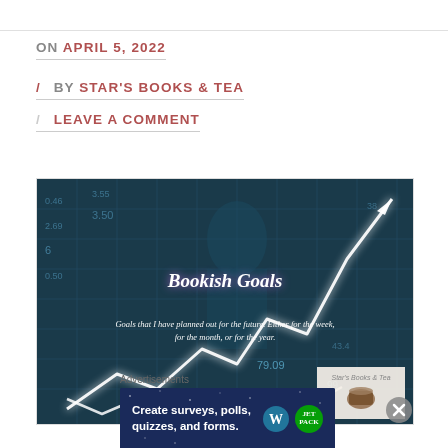ON APRIL 5, 2022
/ BY STAR'S BOOKS & TEA
/ LEAVE A COMMENT
[Figure (illustration): Blog header image titled 'Bookish Goals' with a dark teal stock market ticker board background, a person's silhouette, a glowing white zigzag arrow chart going upward, and subtitle text: 'Goals that I have planned out for the future. Either for the week, for the month, or for the year.' A small logo or icon appears bottom-right.]
Advertisements
[Figure (screenshot): Advertisement banner: 'Create surveys, polls, quizzes, and forms.' with WordPress and Jetpack logos on a dark blue starry background.]